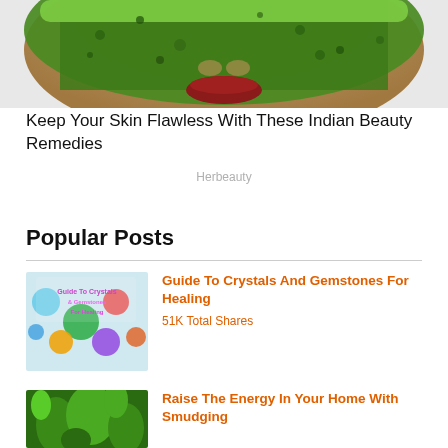[Figure (photo): Woman with green herbal face mask applied, showing lower half of face with red lips]
Keep Your Skin Flawless With These Indian Beauty Remedies
Herbeauty
Popular Posts
[Figure (photo): Colorful crystals and gemstones thumbnail image with decorative text overlay]
Guide To Crystals And Gemstones For Healing
51K Total Shares
[Figure (photo): Green herbs and plants thumbnail for smudging article]
Raise The Energy In Your Home With Smudging